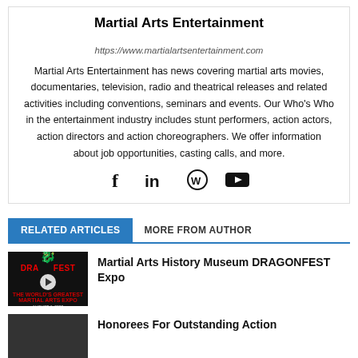Martial Arts Entertainment
https://www.martialartsentertainment.com
Martial Arts Entertainment has news covering martial arts movies, documentaries, television, radio and theatrical releases and related activities including conventions, seminars and events. Our Who's Who in the entertainment industry includes stunt performers, action actors, action directors and action choreographers. We offer information about job opportunities, casting calls, and more.
[Figure (infographic): Social media icons: Facebook, LinkedIn, WordPress, YouTube]
RELATED ARTICLES | MORE FROM AUTHOR
[Figure (photo): DRAGONFEST expo thumbnail with dragon logo, play button, dark background with red and gold text]
Martial Arts History Museum DRAGONFEST Expo
[Figure (photo): Dark thumbnail for Honorees article]
Honorees For Outstanding Action